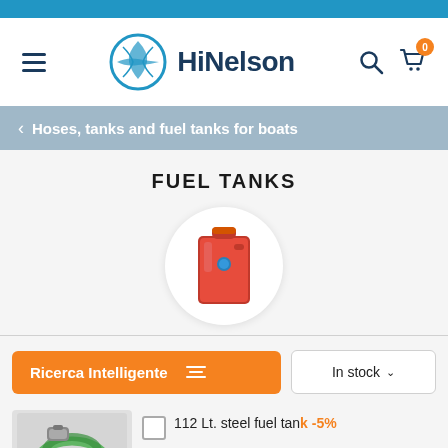[Figure (screenshot): HiNelson e-commerce website screenshot showing the Fuel Tanks product category page with logo, navigation, breadcrumb, product image, filter button, stock dropdown, and a product listing for 112 Lt. steel fuel tank.]